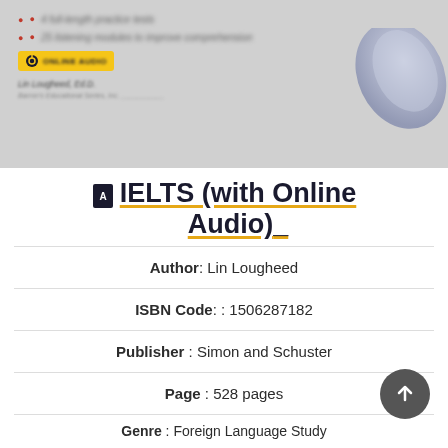[Figure (illustration): Blurred book cover thumbnail showing bullet points, an Online Audio badge, and author name Lin Lougheed, with a decorative page curl in the top-right corner.]
IELTS (with Online Audio)
Author: Lin Lougheed
ISBN Code: : 1506287182
Publisher: Simon and Schuster
Page: 528 pages
Genre: Foreign Language Study